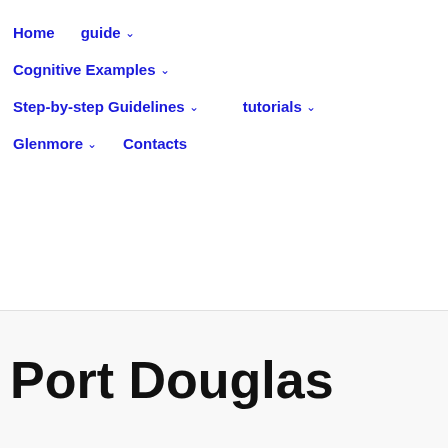Home   guide ˅   Cognitive Examples ˅   Step-by-step Guidelines ˅   tutorials ˅   Glenmore ˅   Contacts
Port Douglas